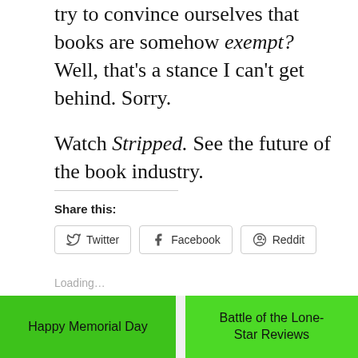try to convince ourselves that books are somehow exempt? Well, that's a stance I can't get behind. Sorry.
Watch Stripped. See the future of the book industry.
Share this:
Twitter   Facebook   Reddit
Loading...
Happy Memorial Day
Battle of the Lone-Star Reviews